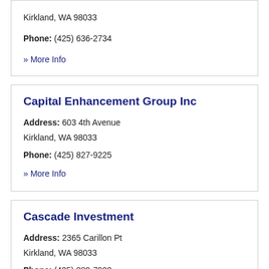Kirkland, WA 98033
Phone: (425) 636-2734
» More Info
Capital Enhancement Group Inc
Address: 603 4th Avenue
Kirkland, WA 98033
Phone: (425) 827-9225
» More Info
Cascade Investment
Address: 2365 Carillon Pt
Kirkland, WA 98033
Phone: (425) 889-7900